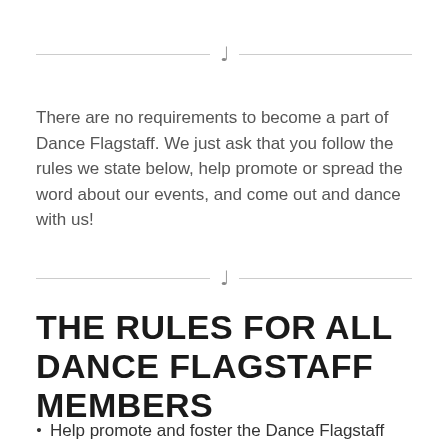[Figure (other): Decorative divider with music note icon and horizontal lines]
There are no requirements to become a part of Dance Flagstaff. We just ask that you follow the rules we state below, help promote or spread the word about our events, and come out and dance with us!
[Figure (other): Decorative divider with music note icon and horizontal lines]
THE RULES FOR ALL DANCE FLAGSTAFF MEMBERS
Help promote and foster the Dance Flagstaff family. Spread the word about our community and